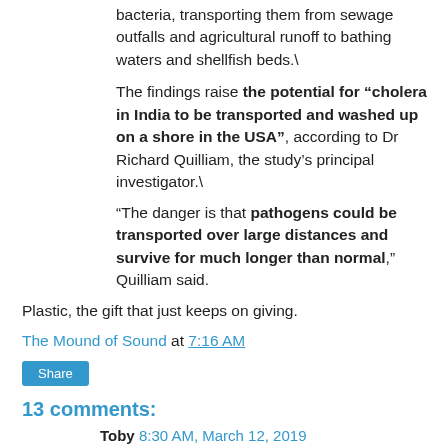bacteria, transporting them from sewage outfalls and agricultural runoff to bathing waters and shellfish beds.\
The findings raise the potential for “cholera in India to be transported and washed up on a shore in the USA”, according to Dr Richard Quilliam, the study’s principal investigator.\
“The danger is that pathogens could be transported over large distances and survive for much longer than normal,” Quilliam said.
Plastic, the gift that just keeps on giving.
The Mound of Sound at 7:16 AM
Share
13 comments:
Toby 8:30 AM, March 12, 2019